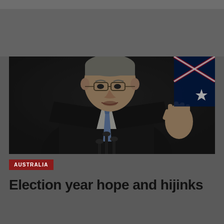[Figure (photo): A man in a dark suit with a blue tie appears to be speaking at a press conference, with an Australian flag visible in the background to the right. The image is dark/low-lit.]
AUSTRALIA
Election year hope and hijinks